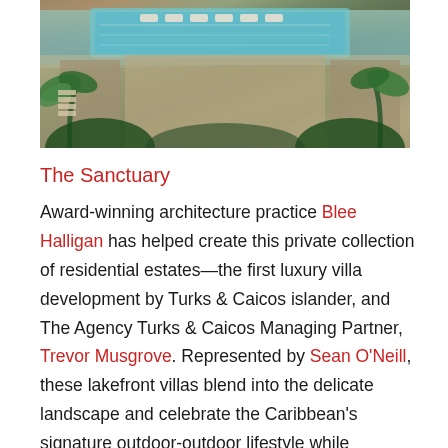[Figure (photo): Architectural rendering of luxury villa development with an infinity pool, outdoor lounge furniture, and tropical landscaping with palm trees]
The Sanctuary
Award-winning architecture practice Blee Halligan has helped create this private collection of residential estates—the first luxury villa development by Turks & Caicos islander, and The Agency Turks & Caicos Managing Partner, Trevor Musgrove. Represented by Sean O'Neill, these lakefront villas blend into the delicate landscape and celebrate the Caribbean's signature outdoor-outdoor lifestyle while providing access to every modern amenity.